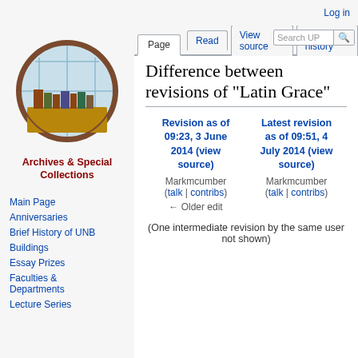Log in
[Figure (illustration): Archives & Special Collections circular logo showing a round window with bookshelves and books in front of a light blue window pane grid]
Archives & Special Collections
Main Page
Anniversaries
Brief History of UNB
Buildings
Essay Prizes
Faculties & Departments
Lecture Series
Difference between revisions of "Latin Grace"
| Revision as of 09:23, 3 June 2014 (view source) | Latest revision as of 09:51, 4 July 2014 (view source) |
| --- | --- |
| Markmcumber (talk | contribs) | Markmcumber (talk | contribs) |
| ← Older edit |  |
(One intermediate revision by the same user not shown)